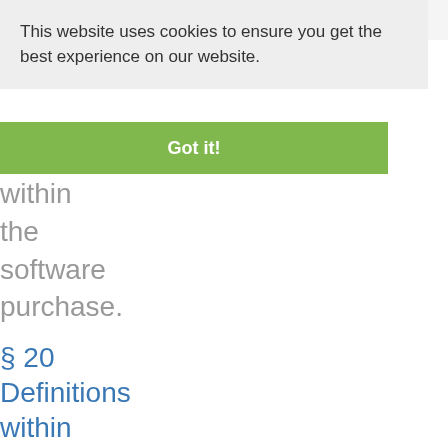This website uses cookies to ensure you get the best experience on our website.
Got it!
within the software purchase.
§ 20 Definitions within the software maintenance contract